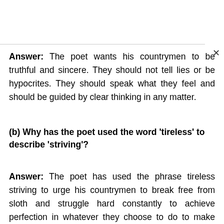Answer: The poet wants his countrymen to be truthful and sincere. They should not tell lies or be hypocrites. They should speak what they feel and should be guided by clear thinking in any matter.
(b) Why has the poet used the word 'tireless' to describe 'striving'?
Answer: The poet has used the phrase tireless striving to urge his countrymen to break free from sloth and struggle hard constantly to achieve perfection in whatever they choose to do to make their country a